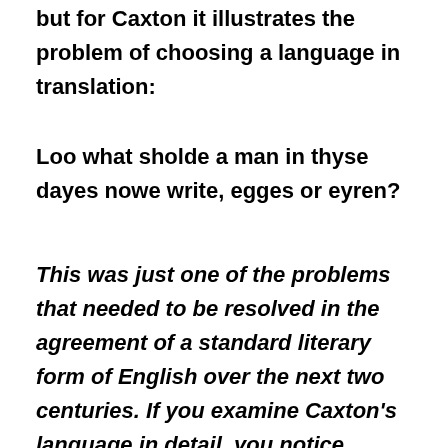but for Caxton it illustrates the problem of choosing a language in translation:
Loo what sholde a man in thyse dayes nowe write, egges or eyren?
This was just one of the problems that needed to be resolved in the agreement of a standard literary form of English over the next two centuries. If you examine Caxton’s language in detail, you notice